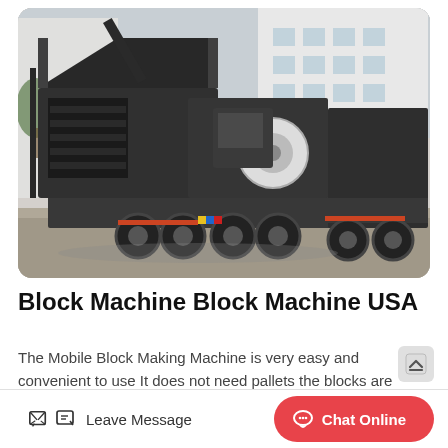[Figure (photo): Large black mobile crushing/block-making machine mounted on a semi-trailer truck parked outside a multi-story white industrial building. A second similar machine is visible in the background to the right.]
Block Machine Block Machine USA
The Mobile Block Making Machine is very easy and convenient to use It does not need pallets the blocks are formed and finished